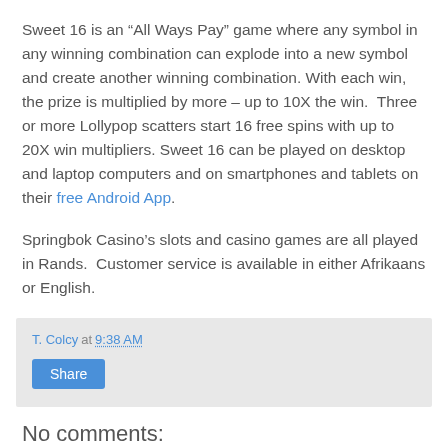Sweet 16 is an “All Ways Pay” game where any symbol in any winning combination can explode into a new symbol and create another winning combination. With each win, the prize is multiplied by more – up to 10X the win.  Three or more Lollypop scatters start 16 free spins with up to 20X win multipliers. Sweet 16 can be played on desktop and laptop computers and on smartphones and tablets on their free Android App.
Springbok Casino’s slots and casino games are all played in Rands.  Customer service is available in either Afrikaans or English.
T. Colcy at 9:38 AM
Share
No comments: